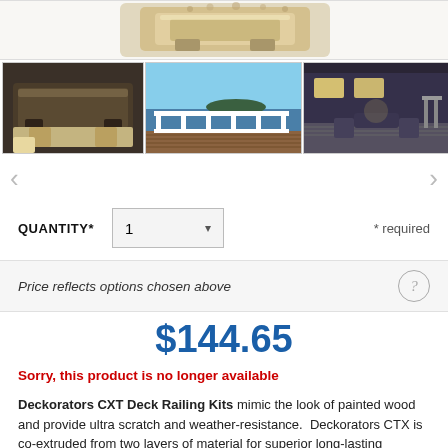[Figure (photo): Close-up product image of a deck railing component cross-section, tan/beige color, top portion cropped]
[Figure (photo): Thumbnail 1: Close-up of brown deck railing profile/extrusion cross-section]
[Figure (photo): Thumbnail 2: Outdoor deck with white railing overlooking water and island]
[Figure (photo): Thumbnail 3: Nighttime patio/deck scene with lounge furniture]
QUANTITY*    1    * required
Price reflects options chosen above
$144.65
Sorry, this product is no longer available
Deckorators CXT Deck Railing Kits mimic the look of painted wood and provide ultra scratch and weather-resistance.  Deckorators CTX is co-extruded from two layers of material for superior long-lasting performance. Code compliant Deckorators CXT Railing Systems attile